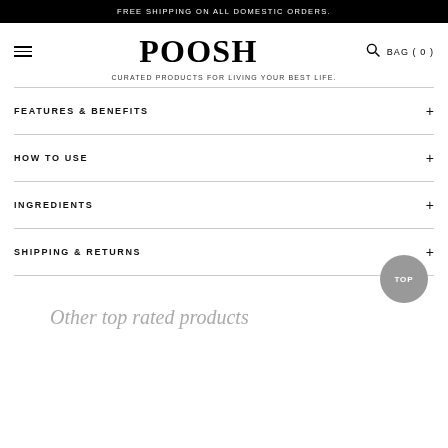FREE SHIPPING ON ALL DOMESTIC ORDERS.
POOSH
CURATED PRODUCTS FOR LIVING YOUR BEST LIFE.
FEATURES & BENEFITS
HOW TO USE
INGREDIENTS
SHIPPING & RETURNS
Other top rated products